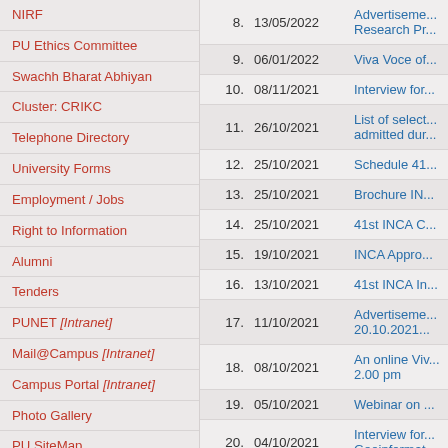NIRF
PU Ethics Committee
Swachh Bharat Abhiyan
Cluster: CRIKC
Telephone Directory
University Forms
Employment / Jobs
Right to Information
Alumni
Tenders
PUNET [Intranet]
Mail@Campus [Intranet]
Campus Portal [Intranet]
Photo Gallery
PU SiteMap
| # | Date | Title |
| --- | --- | --- |
| 8. | 13/05/2022 | Advertiseme... Research Pr... |
| 9. | 06/01/2022 | Viva Voce of... |
| 10. | 08/11/2021 | Interview for... |
| 11. | 26/10/2021 | List of select... admitted dur... |
| 12. | 25/10/2021 | Schedule 41... |
| 13. | 25/10/2021 | Brochure IN... |
| 14. | 25/10/2021 | 41st INCA C... |
| 15. | 19/10/2021 | INCA Appro... |
| 16. | 13/10/2021 | 41st INCA In... |
| 17. | 11/10/2021 | Advertiseme... 20.10.2021... |
| 18. | 08/10/2021 | An online Viv... 2.00 pm |
| 19. | 05/10/2021 | Webinar on ... |
| 20. | 04/10/2021 | Interview for... Geoinformat... |
| 21. | 28/09/2021 | First circular... |